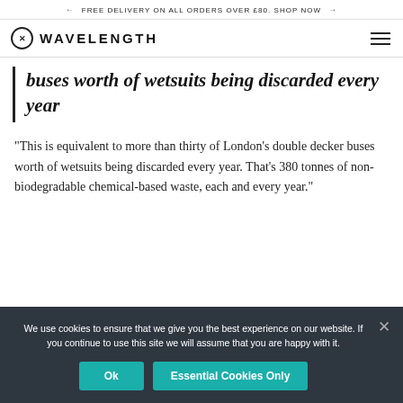← FREE DELIVERY ON ALL ORDERS OVER £80. SHOP NOW →
WAVELENGTH
buses worth of wetsuits being discarded every year
“This is equivalent to more than thirty of London’s double decker buses worth of wetsuits being discarded every year. That’s 380 tonnes of non-biodegradable chemical-based waste, each and every year.”
We use cookies to ensure that we give you the best experience on our website. If you continue to use this site we will assume that you are happy with it.